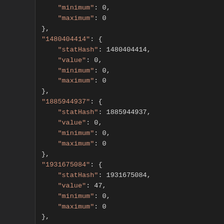"minimum": 0,
    "maximum": 0
},
"1480404414": {
    "statHash": 1480404414,
    "value": 0,
    "minimum": 0,
    "maximum": 0
},
"1885944937": {
    "statHash": 1885944937,
    "value": 0,
    "minimum": 0,
    "maximum": 0
},
"1931675084": {
    "statHash": 1931675084,
    "value": 47,
    "minimum": 0,
    "maximum": 0
},
"1935470627": {
    "statHash": 1935470627,
    "value": 0,
    "minimum": 0,
    "maximum": 0
},